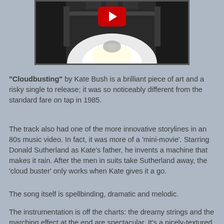[Figure (screenshot): YouTube video thumbnail showing a machine with a bright light glow at the bottom, with a red YouTube play button overlay at the top center]
"Cloudbusting" by Kate Bush is a brilliant piece of art and a risky single to release; it was so noticeably different from the standard fare on tap in 1985.
The track also had one of the more innovative storylines in an 80s music video. In fact, it was more of a 'mini-movie'. Starring Donald Sutherland as Kate's father, he invents a machine that makes it rain. After the men in suits take Sutherland away, the 'cloud buster' only works when Kate gives it a go.
The song itself is spellbinding, dramatic and melodic.
The instrumentation is off the charts: the dreamy strings and the marching effect at the end are spectacular. It's a nicely-textured soft song I prefer to crank up loud on headphones